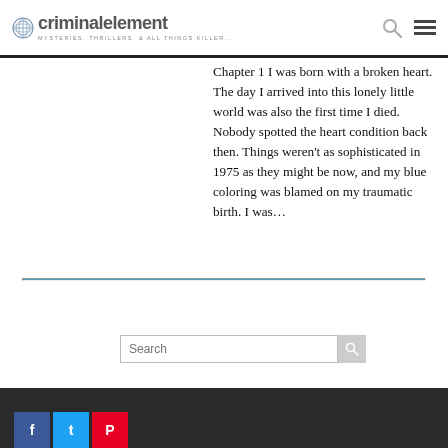criminal element — MYSTERIES, THRILLERS, & ALL THINGS KILLER...
Chapter 1 I was born with a broken heart. The day I arrived into this lonely little world was also the first time I died. Nobody spotted the heart condition back then. Things weren't as sophisticated in 1975 as they might be now, and my blue coloring was blamed on my traumatic birth. I was…
Search [search box] [social icons: Facebook, Twitter, Pinterest]